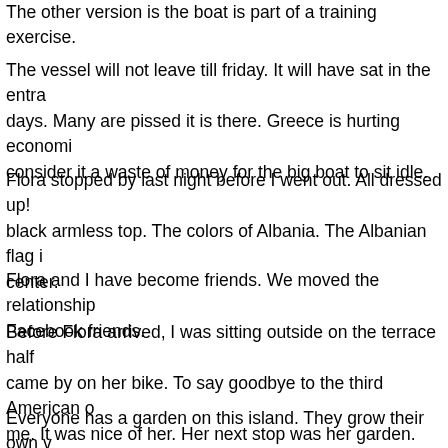The other version is the boat is part of a training exercise.
The vessel will not leave till friday. It will have sat in the entra days. Many are pissed it is there. Greece is hurting economi consider it a waste of money for the big boat to sit idle.
Flora stopped by last night before I went out. All dressed up! black armless top. The colors of Albania. The Albanian flag i center.
Flora and I have become friends. We moved the relationship Facebook friends.
Before Flora arrived, I was sitting outside on the terrace half came by on her bike. To say goodbye to the third American o me. It was nice of her. Her next stop was her garden.
Everyone has a garden on this island. They grow their own v the foods for the winter.